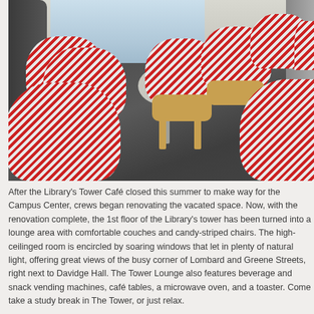[Figure (photo): Interior photo of the Library Tower Lounge showing multiple red and white candy-striped armchairs with wooden frames arranged on a dark tile floor. A small round café table is visible in the center. A dark couch is on the left. Large windows are visible in the background letting in natural light.]
After the Library's Tower Café closed this summer to make way for the Campus Center, crews began renovating the vacated space. Now, with the renovation complete, the 1st floor of the Library's tower has been turned into a lounge area with comfortable couches and candy-striped chairs. The high-ceilinged room is encircled by soaring windows that let in plenty of natural light, offering great views of the busy corner of Lombard and Greene Streets, right next to Davidge Hall. The Tower Lounge also features beverage and snack vending machines, café tables, a microwave oven, and a toaster. Come take a study break in The Tower, or just relax.